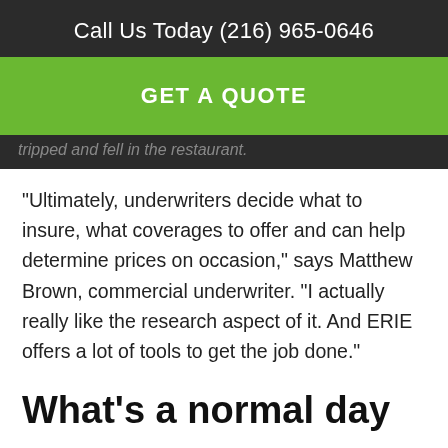Call Us Today (216) 965-0646
GET A QUOTE
tripped and fell in the restaurant.
“Ultimately, underwriters decide what to insure, what coverages to offer and can help determine prices on occasion,” says Matthew Brown, commercial underwriter. “I actually really like the research aspect of it. And ERIE offers a lot of tools to get the job done.”
What’s a normal day